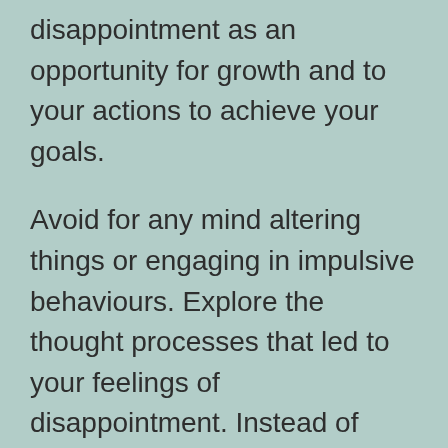disappointment as an opportunity for growth and to your actions to achieve your goals.
Avoid for any mind altering things or engaging in impulsive behaviours. Explore the thought processes that led to your feelings of disappointment. Instead of blaming yourself, or circumstances, reframe your disappointments as learning experiences.